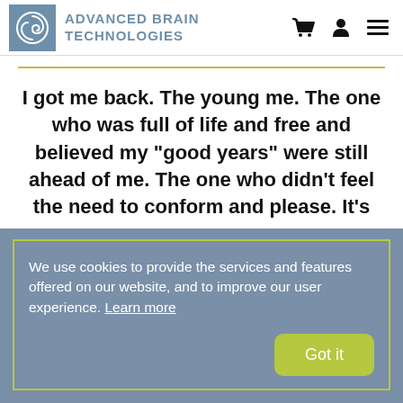[Figure (logo): Advanced Brain Technologies logo with spiral icon and text]
I got me back. The young me. The one who was full of life and free and believed my “good years” were still ahead of me. The one who didn’t feel the need to conform and please. It’s
We use cookies to provide the services and features offered on our website, and to improve our user experience. Learn more